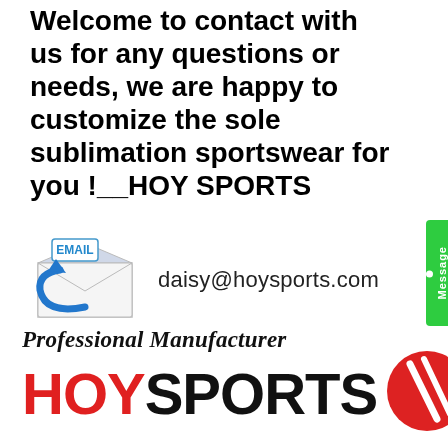Welcome to contact with us for any questions or needs, we are happy to customize the sole sublimation sportswear for you !__HOY SPORTS
[Figure (illustration): Email envelope icon with blue arrow and 'EMAIL' label]
daisy@hoysports.com
[Figure (logo): HOY SPORTS logo: 'Professional Manufacturer' text above, 'HOY' in red and 'SPORTS' in black large sans-serif, with a red circle emblem on the right]
[Figure (other): Green 'Message' tab on right side]